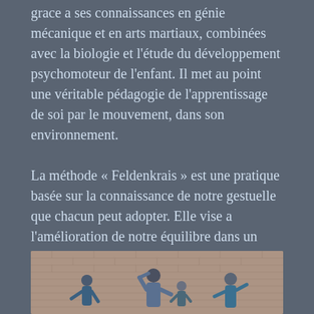grace a ses connaissances en génie mécanique et en arts martiaux, combinées avec la biologie et l'étude du développement psychomoteur de l'enfant. Il met au point une véritable pédagogie de l'apprentissage de soi par le mouvement, dans son environnement.
La méthode « Feldenkrais » est une pratique basée sur la connaissance de notre gestuelle que chacun peut adopter. Elle vise a l'amélioration de notre équilibre dans un contexte de mouvements ludiques, conscients et relaxants.
[Figure (photo): Group of people practicing Feldenkrais movement exercises together in a room with exposed brick wall background]